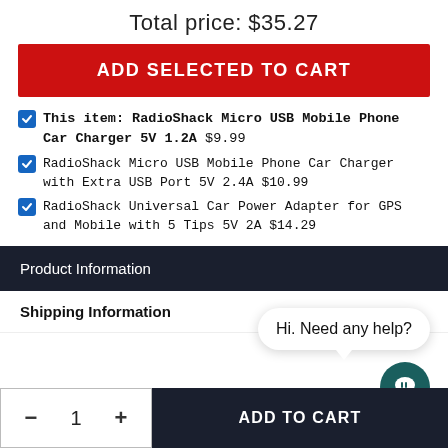Total price: $35.27
ADD SELECTED TO CART
This item: RadioShack Micro USB Mobile Phone Car Charger 5V 1.2A $9.99
RadioShack Micro USB Mobile Phone Car Charger with Extra USB Port 5V 2.4A $10.99
RadioShack Universal Car Power Adapter for GPS and Mobile with 5 Tips 5V 2A $14.29
Product Information
Hi. Need any help?
Shipping Information
− 1 + ADD TO CART